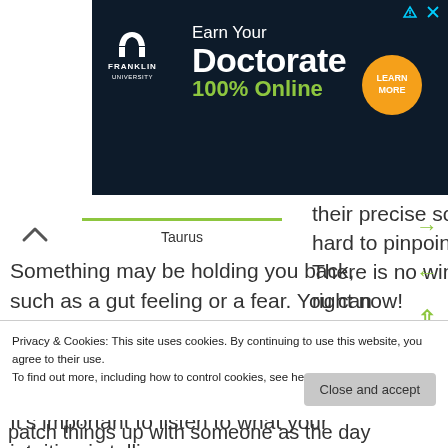[Figure (other): Franklin University advertisement: 'Earn Your Doctorate 100% Online' with Learn More button on dark navy background]
their precise source hard to pinpoint. There is no winning right now!
Taurus
Something may be holding you back, such as a gut feeling or a fear. You can also feel divided between wanting to do something new and different and preferring to stick with the tried and true. It's important to listen to what your intuition is telling you
Privacy & Cookies: This site uses cookies. By continuing to use this website, you agree to their use.
To find out more, including how to control cookies, see here: Cookie Policy
Close and accept
patch things up with someone as the day advances.